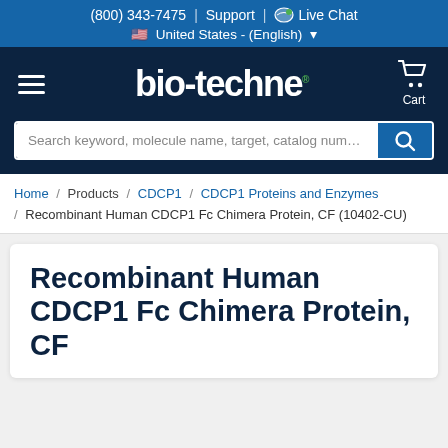(800) 343-7475  |  Support  |  Live Chat  United States - (English)
[Figure (logo): Bio-Techne logo in white on dark navy background]
Search keyword, molecule name, target, catalog number, or pr
Home / Products / CDCP1 / CDCP1 Proteins and Enzymes / Recombinant Human CDCP1 Fc Chimera Protein, CF (10402-CU)
Recombinant Human CDCP1 Fc Chimera Protein, CF